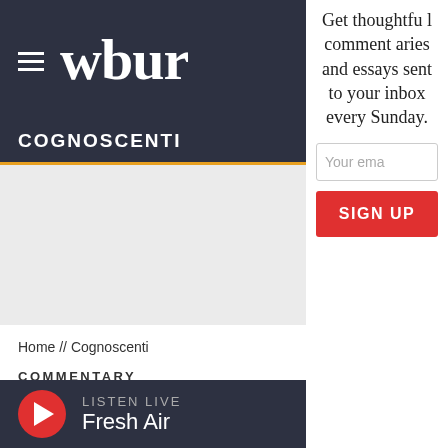wbur
COGNOSCENTI
ADVERTISEMENT
Home // Cognoscenti
COMMENTARY
More Than Sidekicks: Fi Comic Book Superheroes
LISTEN LIVE Fresh Air
Get thoughtful commentaries and essays sent to your inbox every Sunday.
Your email
SIGN UP